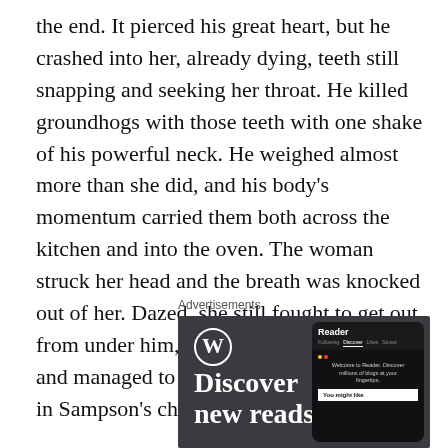the end. It pierced his great heart, but he crashed into her, already dying, teeth still snapping and seeking her throat. He killed groundhogs with those teeth with one shake of his powerful neck. He weighed almost more than she did, and his body's momentum carried them both across the kitchen and into the oven. The woman struck her head and the breath was knocked out of her. Dazed, she still fought to get out from under him, with both arms and legs, and managed to scramble out, the knife still in Sampson's chest
Advertisements
[Figure (screenshot): WordPress advertisement showing the WordPress logo, 'Discover new reads' text, and a phone mockup displaying the Reader interface with 'Welcome to Reader. Discover millions of blogs at your fingertips.' and 'You might like' section.]